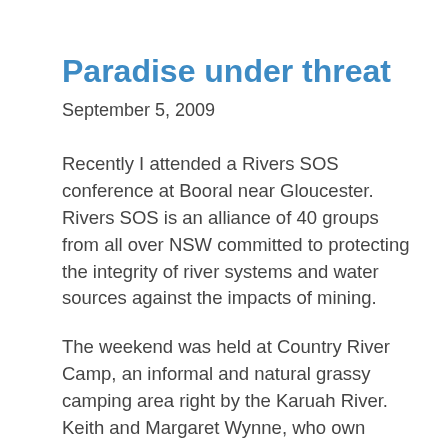Paradise under threat
September 5, 2009
Recently I attended a Rivers SOS conference at Booral near Gloucester. Rivers SOS is an alliance of 40 groups from all over NSW committed to protecting the integrity of river systems and water sources against the impacts of mining.
The weekend was held at Country River Camp, an informal and natural grassy camping area right by the Karuah River. Keith and Margaret Wynne, who own Country River Camp, love their river and are strong